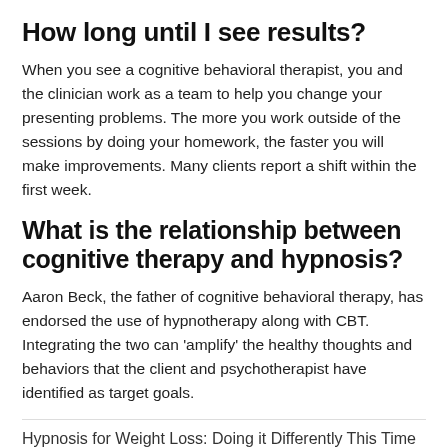How long until I see results?
When you see a cognitive behavioral therapist, you and the clinician work as a team to help you change your presenting problems. The more you work outside of the sessions by doing your homework, the faster you will make improvements. Many clients report a shift within the first week.
What is the relationship between cognitive therapy and hypnosis?
Aaron Beck, the father of cognitive behavioral therapy, has endorsed the use of hypnotherapy along with CBT. Integrating the two can 'amplify' the healthy thoughts and behaviors that the client and psychotherapist have identified as target goals.
Hypnosis for Weight Loss: Doing it Differently This Time
by therapyisd.com | Feb 8, 2016 | Cognitive